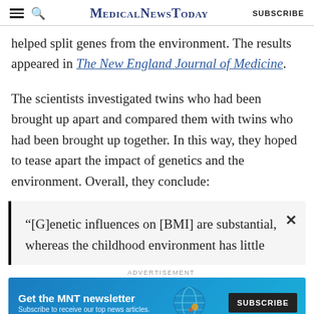MedicalNewsToday SUBSCRIBE
helped split genes from the environment. The results appeared in The New England Journal of Medicine.
The scientists investigated twins who had been brought up apart and compared them with twins who had been brought up together. In this way, they hoped to tease apart the impact of genetics and the environment. Overall, they conclude:
“[G]enetic influences on [BMI] are substantial, whereas the childhood environment has little
ADVERTISEMENT
Get the MNT newsletter — Subscribe to receive our top news articles. SUBSCRIBE